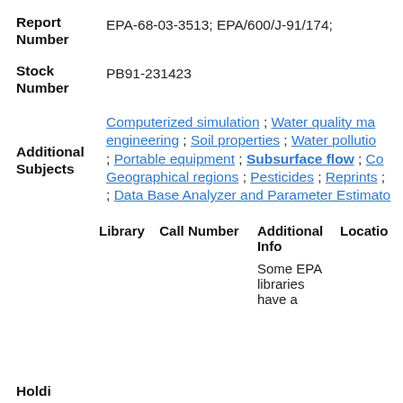Report Number: EPA-68-03-3513; EPA/600/J-91/174;
Stock Number: PB91-231423
Additional Subjects: Computerized simulation ; Water quality ma... engineering ; Soil properties ; Water pollutio... ; Portable equipment ; Subsurface flow ; Co... Geographical regions ; Pesticides ; Reprints ; ; Data Base Analyzer and Parameter Estimato...
| Library | Call Number | Additional Info | Locatio... |
| --- | --- | --- | --- |
|  |  | Some EPA libraries have a |  |
Holdi...